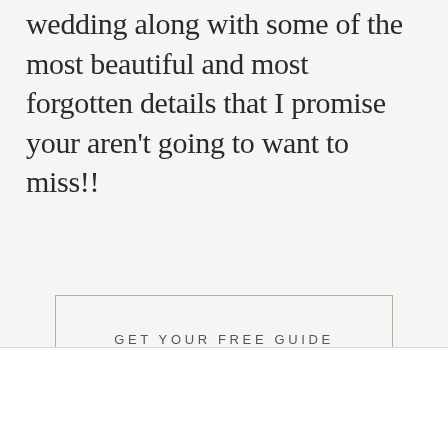wedding along with some of the most beautiful and most forgotten details that I promise your aren't going to want to miss!!
GET YOUR FREE GUIDE